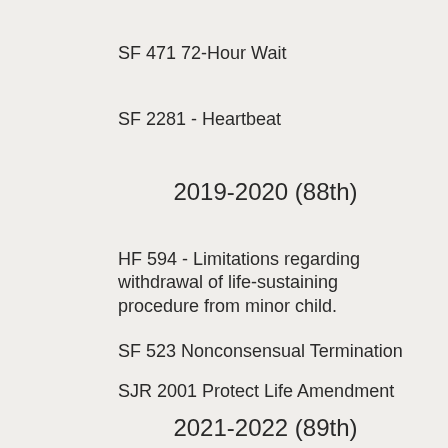SF 471 72-Hour Wait
SF 2281 - Heartbeat
2019-2020 (88th)
HF 594 - Limitations regarding withdrawal of life-sustaining procedure from minor child.
SF 523 Nonconsensual Termination
SJR 2001 Protect Life Amendment
2021-2022 (89th)